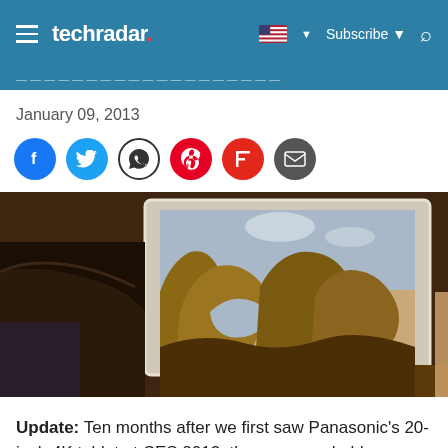techradar. | Subscribe
January 09, 2013
[Figure (photo): Hands holding a large tablet (Panasonic 20-inch 4K tablet) displaying a photo of rock arch formations (natural sandstone arches), shown at CES 2013.]
Update: Ten months after we first saw Panasonic's 20-inch 4K tablet at CES 2013, the company held a launch